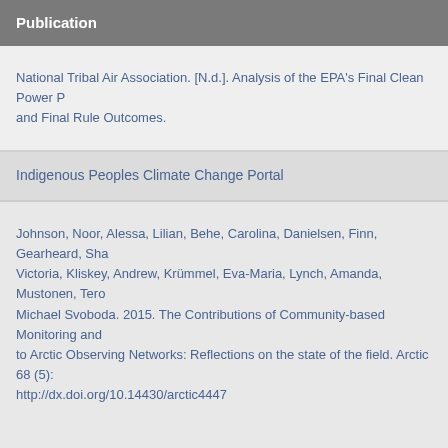Publication
National Tribal Air Association. [N.d.]. Analysis of the EPA's Final Clean Power P… and Final Rule Outcomes.
Indigenous Peoples Climate Change Portal
Johnson, Noor, Alessa, Lilian, Behe, Carolina, Danielsen, Finn, Gearheard, Sha… Victoria, Kliskey, Andrew, Krümmel, Eva-Maria, Lynch, Amanda, Mustonen, Tero… Michael Svoboda. 2015. The Contributions of Community-based Monitoring and… to Arctic Observing Networks: Reflections on the state of the field. Arctic 68 (5):… http://dx.doi.org/10.14430/arctic4447